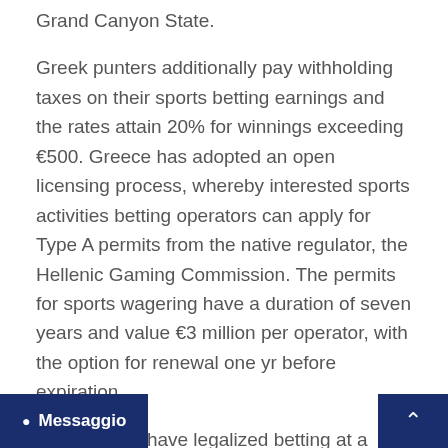Grand Canyon State.
Greek punters additionally pay withholding taxes on their sports betting earnings and the rates attain 20% for winnings exceeding €500. Greece has adopted an open licensing process, whereby interested sports activities betting operators can apply for Type A permits from the native regulator, the Hellenic Gaming Commission. The permits for sports wagering have a duration of seven years and value €3 million per operator, with the option for renewal one yr before expiration.
Some states have legalized betting at a retail sportsbook however don't allow on-line betting y have online choices, and some but to make it a authorized activity. Sports b